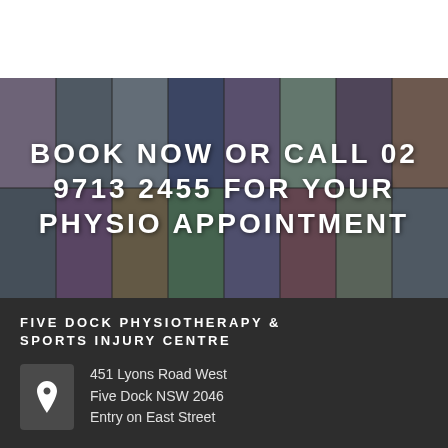[Figure (photo): Collage of physiotherapy and sports injury photos arranged in a grid, shown as background behind a call-to-action banner]
BOOK NOW OR CALL 02 9713 2455 FOR YOUR PHYSIO APPOINTMENT
FIVE DOCK PHYSIOTHERAPY & SPORTS INJURY CENTRE
451 Lyons Road West
Five Dock NSW 2046
Entry on East Street
02 9713 2455